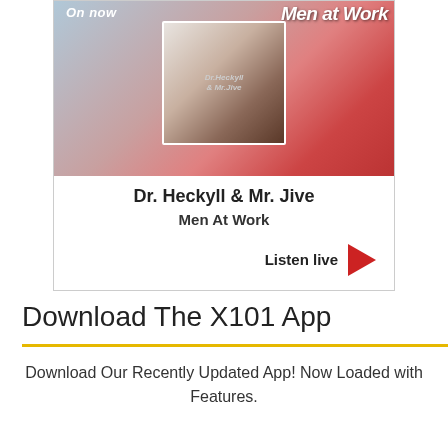[Figure (screenshot): Music player card showing album art for Dr. Heckyll & Mr. Jive by Men At Work, with 'On now' label, album cover image, track title, artist name, and a Listen live button with red play arrow.]
Download The X101 App
Download Our Recently Updated App! Now Loaded with Features.